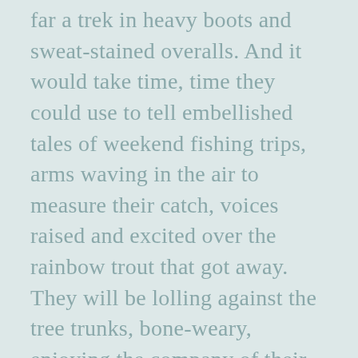far a trek in heavy boots and sweat-stained overalls. And it would take time, time they could use to tell embellished tales of weekend fishing trips, arms waving in the air to measure their catch, voices raised and excited over the rainbow trout that got away. They will be lolling against the tree trunks, bone-weary, enjoying the company of their coworkers and friends who chomp on everything from biscuits and jelly to the remains of last night's now-rubbery chicken fried steak. Dabbing at my sticky chin, I deliberate whether to arc the empty container into the trash from here. But no, my images of a